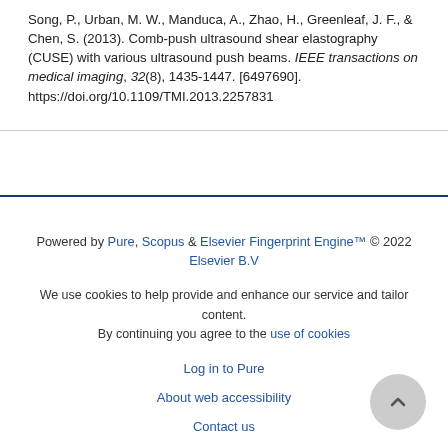Song, P., Urban, M. W., Manduca, A., Zhao, H., Greenleaf, J. F., & Chen, S. (2013). Comb-push ultrasound shear elastography (CUSE) with various ultrasound push beams. IEEE transactions on medical imaging, 32(8), 1435-1447. [6497690]. https://doi.org/10.1109/TMI.2013.2257831
Powered by Pure, Scopus & Elsevier Fingerprint Engine™ © 2022 Elsevier B.V

We use cookies to help provide and enhance our service and tailor content. By continuing you agree to the use of cookies

Log in to Pure

About web accessibility

Contact us